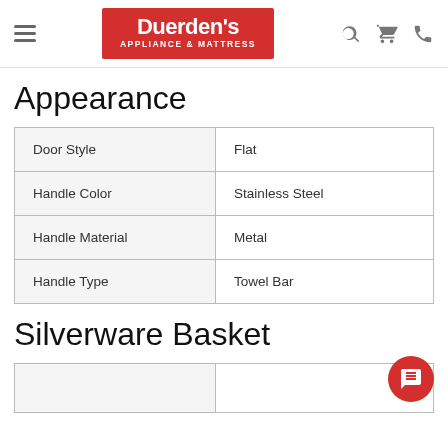Duerden's APPLIANCE & MATTRESS
Appearance
| Door Style | Flat |
| Handle Color | Stainless Steel |
| Handle Material | Metal |
| Handle Type | Towel Bar |
Silverware Basket
|  |  |